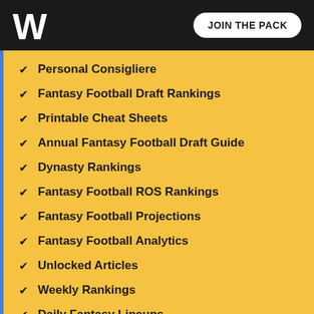W — JOIN THE PACK
Personal Consigliere
Fantasy Football Draft Rankings
Printable Cheat Sheets
Annual Fantasy Football Draft Guide
Dynasty Rankings
Fantasy Football ROS Rankings
Fantasy Football Projections
Fantasy Football Analytics
Unlocked Articles
Weekly Rankings
Daily Fantasy Lineups